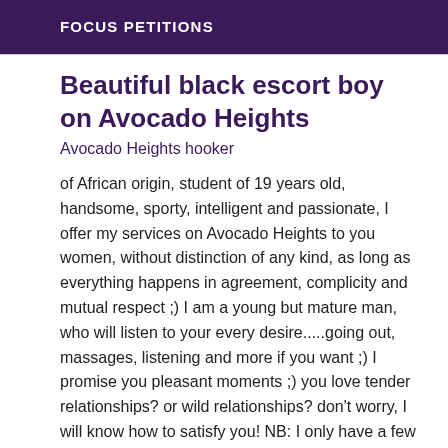FOCUS PETITIONS
Beautiful black escort boy on Avocado Heights
Avocado Heights hooker
of African origin, student of 19 years old, handsome, sporty, intelligent and passionate, I offer my services on Avocado Heights to you women, without distinction of any kind, as long as everything happens in agreement, complicity and mutual respect ;) I am a young but mature man, who will listen to your every desire.....going out, massages, listening and more if you want ;) I promise you pleasant moments ;) you love tender relationships? or wild relationships? don't worry, I will know how to satisfy you! NB: I only have a few conditions: intercourse is protected, and being very careful about my hygiene, I ask that my partner is also protected :) To finish, I travel and my rate is 150 eu per hour non-negotiable. Are you satisfied with my